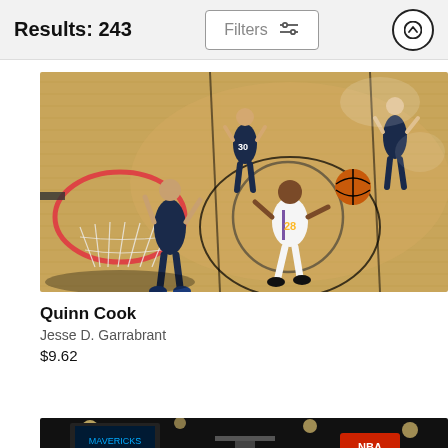Results: 243
[Figure (photo): NBA basketball game action shot from above the basket showing Quinn Cook (#28) of the Los Angeles Lakers driving to the hoop against Dallas Mavericks players on a hardwood court]
Quinn Cook
Jesse D. Garrabrant
$9.62
[Figure (photo): Partial view of another NBA basketball court scene, dark arena environment with scoreboard visible]